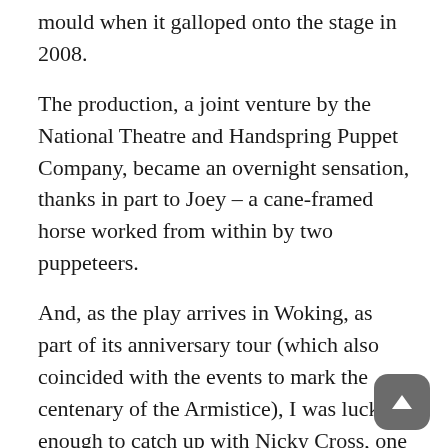mould when it galloped onto the stage in 2008.
The production, a joint venture by the National Theatre and Handspring Puppet Company, became an overnight sensation, thanks in part to Joey – a cane-framed horse worked from within by two puppeteers.
And, as the play arrives in Woking, as part of its anniversary tour (which also coincided with the events to mark the centenary of the Armistice), I was lucky enough to catch up with Nicky Cross, one of the team of 10 puppeteers charged with bringing Joey (along with the play's other non-human cast) to life.
“It’s the best job in the world,” exclaims Nicky, who admits the piece was on her ‘wish list’ of productions while still at drama school. “But’s it’s a tough gig. It’s very physical and it’s very hot.”